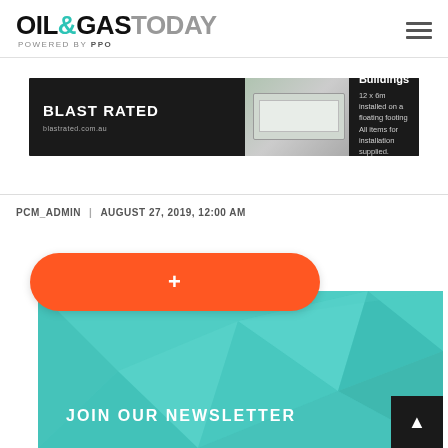[Figure (logo): Oil & Gas Today powered by PPO logo — bold black and teal text with gray hamburger menu icon]
[Figure (photo): Blast Rated advertisement banner showing blast resistant buildings — 12 x 6m installed on a floating footing, blastrated.com.au]
PCM_ADMIN | AUGUST 27, 2019, 12:00 AM
[Figure (infographic): Join our newsletter section with orange plus button and teal geometric polygon background]